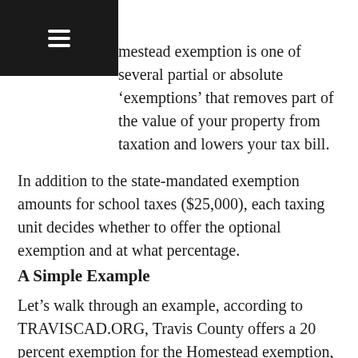mestead exemption is one of several partial or absolute 'exemptions' that removes part of the value of your property from taxation and lowers your tax bill.
In addition to the state-mandated exemption amounts for school taxes ($25,000), each taxing unit decides whether to offer the optional exemption and at what percentage.
A Simple Example
Let's walk through an example, according to TRAVISCAD.ORG, Travis County offers a 20 percent exemption for the Homestead exemption, however, Travis County is only one of several taxing units – the others are Austin ISD, City of Austin, and Austin Community College District.